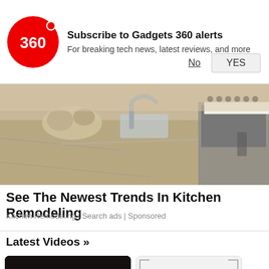[Figure (screenshot): Gadgets 360 subscription notification popup with red circular logo, title 'Subscribe to Gadgets 360 alerts', subtitle 'For breaking tech news, latest reviews, and more', with No and YES buttons]
[Figure (photo): Kitchen remodeling image showing granite countertops, sink, and stainless steel range/oven]
See The Newest Trends In Kitchen Remodeling
Kitchen Remodeling | Search ads | Sponsored
Latest Videos »
[Figure (screenshot): Video thumbnail with dark background showing 'WHAT TO WATCH ON PRIME VIDEO (AUGUST)' text, play button badge showing 05:07]
[Figure (screenshot): Video thumbnail placeholder (light grey) with play button badge showing 03:07]